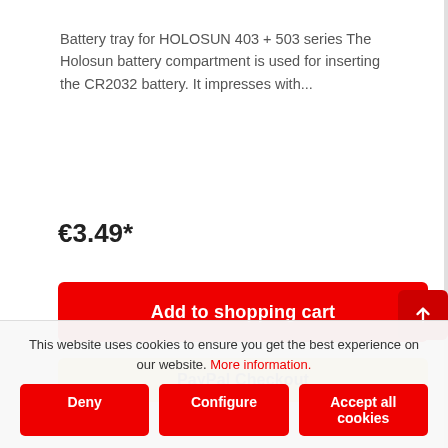Battery tray for HOLOSUN 403 + 503 series The Holosun battery compartment is used for inserting the CR2032 battery. It impresses with...
€3.49*
Add to shopping cart
[Figure (logo): PayPal Checkout button in yellow]
This website uses cookies to ensure you get the best experience on our website. More information.
Deny
Configure
Accept all cookies